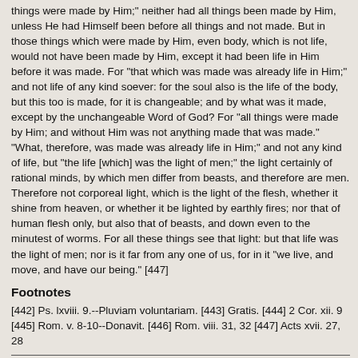things were made by Him;" neither had all things been made by Him, unless He had Himself been before all things and not made. But in those things which were made by Him, even body, which is not life, would not have been made by Him, except it had been life in Him before it was made. For "that which was made was already life in Him;" and not life of any kind soever: for the soul also is the life of the body, but this too is made, for it is changeable; and by what was it made, except by the unchangeable Word of God? For "all things were made by Him; and without Him was not anything made that was made." "What, therefore, was made was already life in Him;" and not any kind of life, but "the life [which] was the light of men;" the light certainly of rational minds, by which men differ from beasts, and therefore are men. Therefore not corporeal light, which is the light of the flesh, whether it shine from heaven, or whether it be lighted by earthly fires; nor that of human flesh only, but also that of beasts, and down even to the minutest of worms. For all these things see that light: but that life was the light of men; nor is it far from any one of us, for in it "we live, and move, and have our being." [447]
Footnotes
[442] Ps. lxviii. 9.--Pluviam voluntariam. [443] Gratis. [444] 2 Cor. xii. 9 [445] Rom. v. 8-10--Donavit. [446] Rom. viii. 31, 32 [447] Acts xvii. 27, 28
Chapter 2.--How We are Rendered Apt for the Perception of Truth Thr